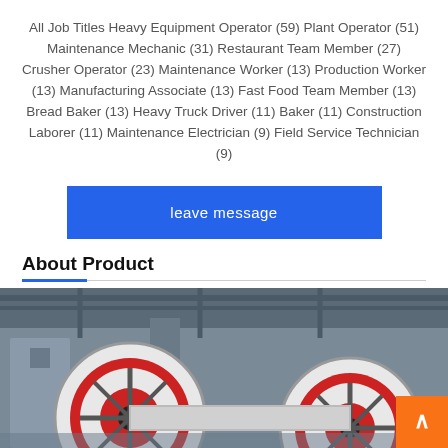All Job Titles Heavy Equipment Operator (59) Plant Operator (51) Maintenance Mechanic (31) Restaurant Team Member (27) Crusher Operator (23) Maintenance Worker (13) Production Worker (13) Manufacturing Associate (13) Fast Food Team Member (13) Bread Baker (13) Heavy Truck Driver (11) Baker (11) Construction Laborer (11) Maintenance Electrician (9) Field Service Technician (9)
[Figure (other): Blue button labeled 'leave message']
About Product
[Figure (photo): Industrial machinery photo showing large red and white wheels/pulleys in a factory setting]